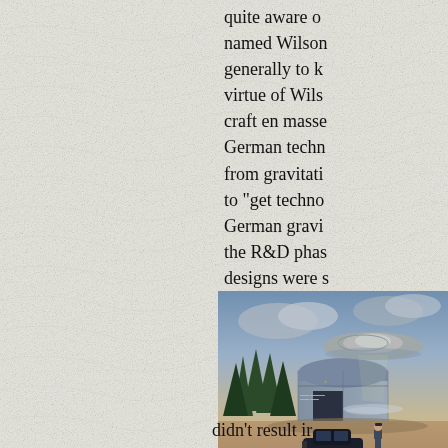quite aware of named Wilson generally to k virtue of Wils craft en masse German techn from gravitati to "get techno German gravi the R&D phas designs were s
[Figure (illustration): Illustration of a flying saucer-style aircraft hovering near a hangar building, with a vintage dark-colored automobile and a uniformed figure standing in the foreground. Trees and cloudy sky in the background. Appears to be a WWII-era German secret aircraft concept art.]
didn't result ir